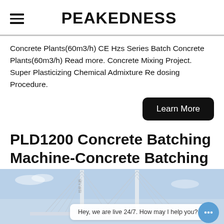PEAKEDNESS
Concrete Plants(60m3/h) CE Hzs Series Batch Concrete Plants(60m3/h) Read more. Concrete Mixing Project. Super Plasticizing Chemical Admixture Re dosing Procedure.
Learn More
PLD1200 Concrete Batching Machine-Concrete Batching
[Figure (photo): Photo of a cable-stayed bridge with blue sky background, with a live chat bubble overlay reading 'Hey, we are live 24/7. How may I help you?' and a blue chat icon button.]